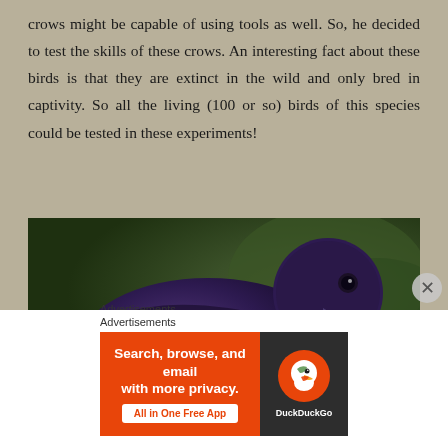crows might be capable of using tools as well. So, he decided to test the skills of these crows. An interesting fact about these birds is that they are extinct in the wild and only bred in captivity. So all the living (100 or so) birds of this species could be tested in these experiments!
[Figure (photo): Close-up photograph of a dark purple/black crow holding a thin twig or stick in its beak, with a blurred green background.]
Advertisements
[Figure (screenshot): DuckDuckGo advertisement banner. Left side: orange background with white bold text 'Search, browse, and email with more privacy.' and white button 'All in One Free App'. Right side: dark background with DuckDuckGo duck logo and brand name.]